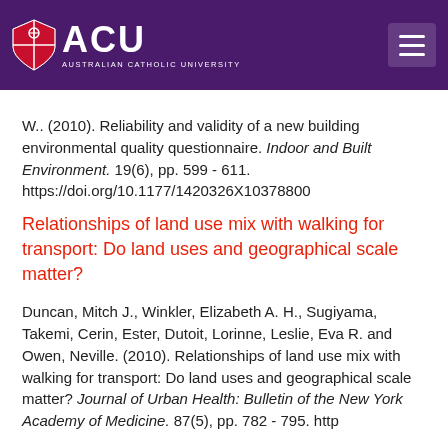[Figure (logo): Australian Catholic University (ACU) logo with shield icon and hamburger menu on dark purple header]
W.. (2010). Reliability and validity of a new building environmental quality questionnaire. Indoor and Built Environment. 19(6), pp. 599 - 611. https://doi.org/10.1177/1420326X10378800
Relationships of land use mix with walking for transport: Do land uses and geographical scale matter?
Duncan, Mitch J., Winkler, Elizabeth A. H., Sugiyama, Takemi, Cerin, Ester, Dutoit, Lorinne, Leslie, Eva R. and Owen, Neville. (2010). Relationships of land use mix with walking for transport: Do land uses and geographical scale matter? Journal of Urban Health: Bulletin of the New York Academy of Medicine. 87(5), pp. 782 - 795. http